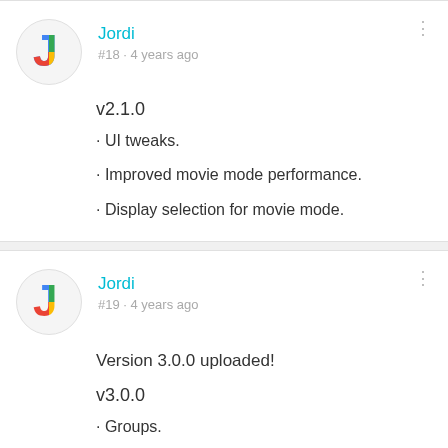Jordi
#18 · 4 years ago
v2.1.0
· UI tweaks.
· Improved movie mode performance.
· Display selection for movie mode.
Jordi
#19 · 4 years ago
Version 3.0.0 uploaded!
v3.0.0
· Groups.
· New tabbed layout.
· New fields for inputting RGB and HEX values manually.